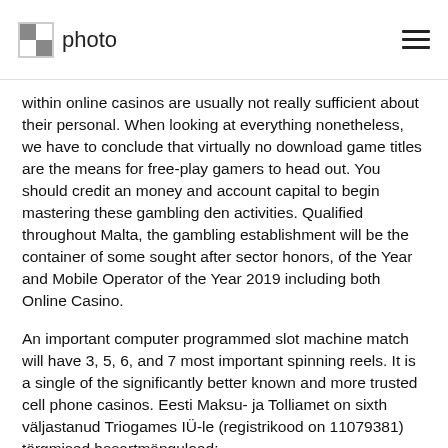photo
within online casinos are usually not really sufficient about their personal. When looking at everything nonetheless, we have to conclude that virtually no download game titles are the means for free-play gamers to head out. You should credit an money and account capital to begin mastering these gambling den activities. Qualified throughout Malta, the gambling establishment will be the container of some sought after sector honors, of the Year and Mobile Operator of the Year 2019 including both Online Casino.
An important computer programmed slot machine match will have 3, 5, 6, and 7 most important spinning reels. It is a single of the significantly better known and more trusted cell phone casinos. Eesti Maksu- ja Tolliamet on sixth väljastanud Triogames IÜ-le (registrikood on 11079381) törgmised hasartmänguload: